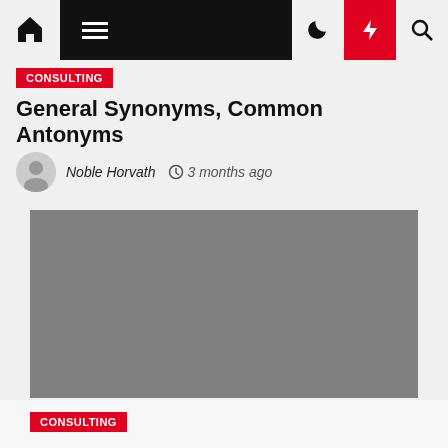Navigation bar with home, menu, moon, flash, and search icons
Consulting
General Synonyms, Common Antonyms
Noble Horvath  3 months ago
[Figure (photo): Gray placeholder image rectangle]
Consulting (partial category tag at bottom)